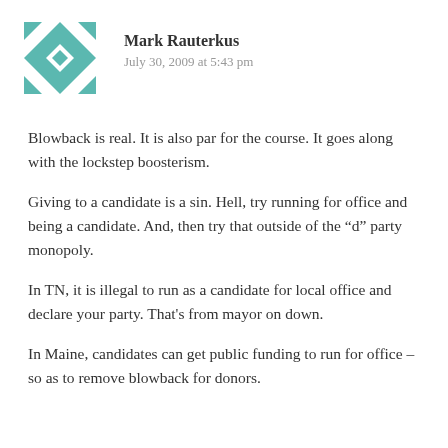[Figure (illustration): Teal and white geometric quilt-pattern avatar icon for user Mark Rauterkus]
Mark Rauterkus
July 30, 2009 at 5:43 pm
Blowback is real. It is also par for the course. It goes along with the lockstep boosterism.
Giving to a candidate is a sin. Hell, try running for office and being a candidate. And, then try that outside of the “d” party monopoly.
In TN, it is illegal to run as a candidate for local office and declare your party. That’s from mayor on down.
In Maine, candidates can get public funding to run for office – so as to remove blowback for donors.